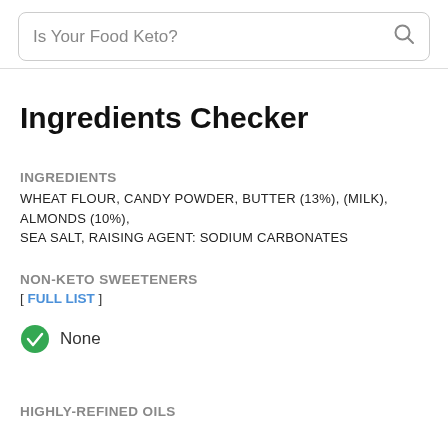Is Your Food Keto?
Ingredients Checker
INGREDIENTS
WHEAT FLOUR, CANDY POWDER, BUTTER (13%), (MILK), ALMONDS (10%), SEA SALT, RAISING AGENT: SODIUM CARBONATES
NON-KETO SWEETENERS
[ FULL LIST ]
None
HIGHLY-REFINED OILS